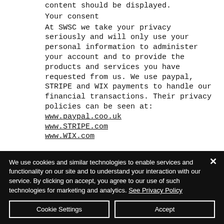content should be displayed.
Your consent
At SWSC we take your privacy seriously and will only use your personal information to administer your account and to provide the products and services you have requested from us. We use paypal, STRIPE and WIX payments to handle our financial transactions. Their privacy policies can be seen at:
www.paypal.coo.uk
www.STRIPE.com
www.WIX.com
We use cookies and similar technologies to enable services and functionality on our site and to understand your interaction with our service. By clicking on accept, you agree to our use of such technologies for marketing and analytics. See Privacy Policy
Cookie Settings    Accept